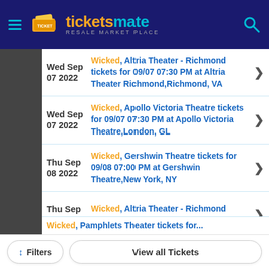ticketsmate RESALE MARKET PLACE
Wed Sep 07 2022 — Wicked, Altria Theater - Richmond tickets for 09/07 07:30 PM at Altria Theater Richmond, Richmond, VA
Wed Sep 07 2022 — Wicked, Apollo Victoria Theatre tickets for 09/07 07:30 PM at Apollo Victoria Theatre, London, GL
Thu Sep 08 2022 — Wicked, Gershwin Theatre tickets for 09/08 07:00 PM at Gershwin Theatre, New York, NY
Thu Sep 08 2022 — Wicked, Altria Theater - Richmond tickets for 09/08 07:30 PM at Altria
Wicked, Pamphlets Theater tickets for...